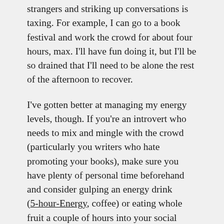strangers and striking up conversations is taxing. For example, I can go to a book festival and work the crowd for about four hours, max. I'll have fun doing it, but I'll be so drained that I'll need to be alone the rest of the afternoon to recover.
I've gotten better at managing my energy levels, though. If you're an introvert who needs to mix and mingle with the crowd (particularly you writers who hate promoting your books), make sure you have plenty of personal time beforehand and consider gulping an energy drink (5-hour-Energy, coffee) or eating whole fruit a couple of hours into your social events. It will give you enough energy to share with others for at least a few hours. That way, you'll avoid having to recharge by retreating into your personal shell and being misunderstood by everyone you meet.
For you fellow introverts out there, what are some ways